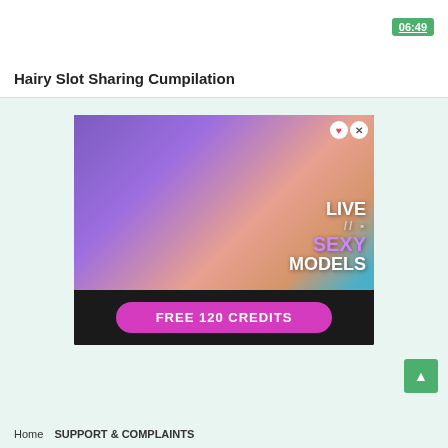06:49
Hairy Slot Sharing Cumpilation
[Figure (photo): Adult advertisement banner showing explicit content with text overlay 'LIVE // SEXY MODELS' and a call-to-action button 'FREE 120 CREDITS' on a dark bottom bar. Close and heart buttons visible in top right corner of ad.]
Home  SUPPORT & COMPLAINTS